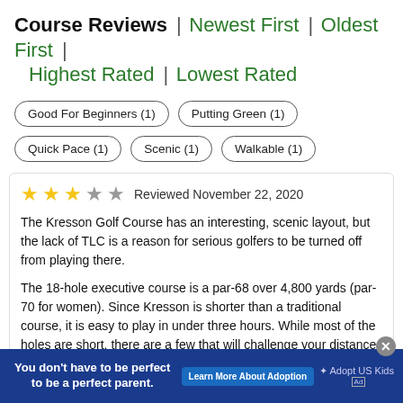Course Reviews | Newest First | Oldest First | Highest Rated | Lowest Rated
Good For Beginners (1)
Putting Green (1)
Quick Pace (1)
Scenic (1)
Walkable (1)
★★★☆☆  Reviewed November 22, 2020
The Kresson Golf Course has an interesting, scenic layout, but the lack of TLC is a reason for serious golfers to be turned off from playing there.
The 18-hole executive course is a par-68 over 4,800 yards (par-70 for women). Since Kresson is shorter than a traditional course, it is easy to play in under three hours. While most of the holes are short, there are a few that will challenge your distance. Al…
[Figure (screenshot): Advertisement banner: 'You don't have to be perfect to be a perfect parent.' with Learn More About Adoption button and Adopt US Kids logo]